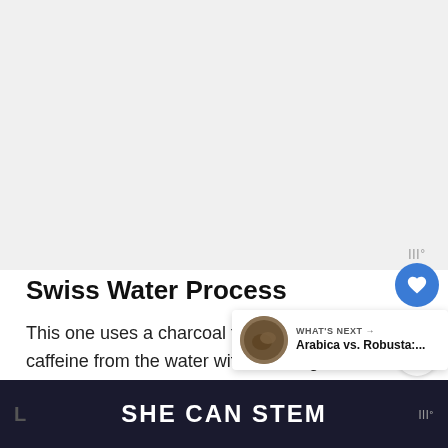[Figure (photo): Large light gray image placeholder area at top of page]
Swiss Water Process
This one uses a charcoal filter to remove caffeine from the water without using harmful chemicals.
[Figure (infographic): What's Next panel with thumbnail image of coffee beans and text: WHAT'S NEXT → Arabica vs. Robusta:....]
SHE CAN STEM